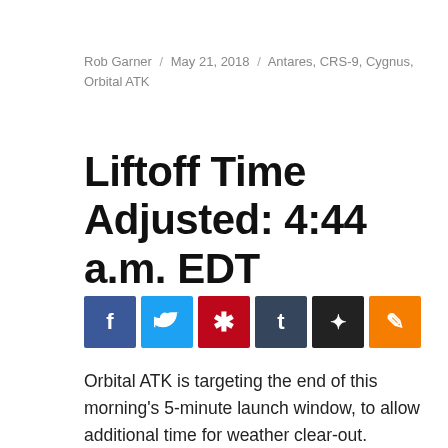Rob Garner / May 21, 2018 / Antares, CRS-9, Cygnus, Orbital ATK
Liftoff Time Adjusted: 4:44 a.m. EDT
[Figure (other): Social media sharing buttons: Facebook, Twitter, Pinterest, Tumblr, Print, Blogger]
Orbital ATK is targeting the end of this morning's 5-minute launch window, to allow additional time for weather clear-out. Launch of the company's Antares rocket with Cygnus cargo spacecraft is set for 4:44 a.m. EDT from Virginia Space's Mid-Atlantic Regional